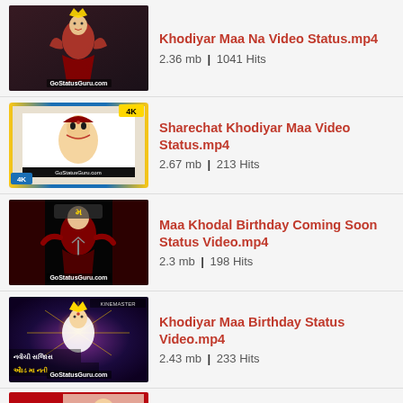[Figure (screenshot): Thumbnail for Khodiyar Maa Na Video Status - goddess image with GoStatusGuru.com watermark]
Khodiyar Maa Na Video Status.mp4
2.36 mb | 1041 Hits
[Figure (screenshot): Thumbnail for Sharechat Khodiyar Maa Video Status - 4K goddess image with GoStatusGuru.com watermark]
Sharechat Khodiyar Maa Video Status.mp4
2.67 mb | 213 Hits
[Figure (screenshot): Thumbnail for Maa Khodal Birthday Coming Soon Status Video - dark background goddess image with GoStatusGuru.com watermark]
Maa Khodal Birthday Coming Soon Status Video.mp4
2.3 mb | 198 Hits
[Figure (screenshot): Thumbnail for Khodiyar Maa Birthday Status Video - colorful goddess image with Gujarati text and GoStatusGuru.com watermark]
Khodiyar Maa Birthday Status Video.mp4
2.43 mb | 233 Hits
[Figure (screenshot): Partial thumbnail of another video at bottom of page]